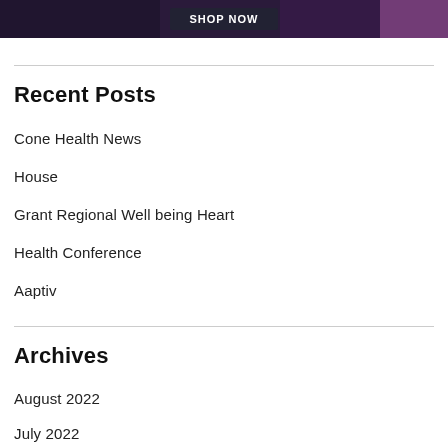[Figure (photo): Cropped banner image of a person wearing dark athletic wear with a 'SHOP NOW' button overlay, pink/purple background accent]
Recent Posts
Cone Health News
House
Grant Regional Well being Heart
Health Conference
Aaptiv
Archives
August 2022
July 2022